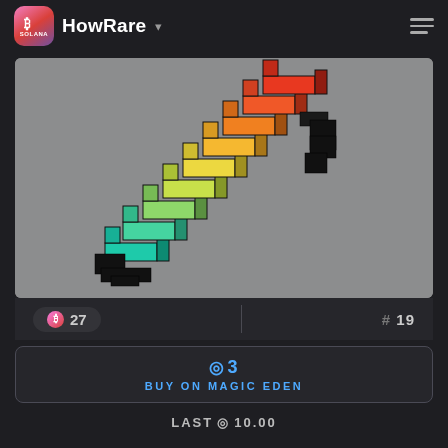HowRare
[Figure (illustration): 3D pixel-art style staircase shape with gradient colors from teal/cyan at bottom to yellow, orange, and red at top, on a gray background. The structure is made of stacked black-outlined colored blocks arranged in a diagonal staircase pattern.]
R 27
# 19
◎3
BUY ON MAGIC EDEN
LAST ◎10.00